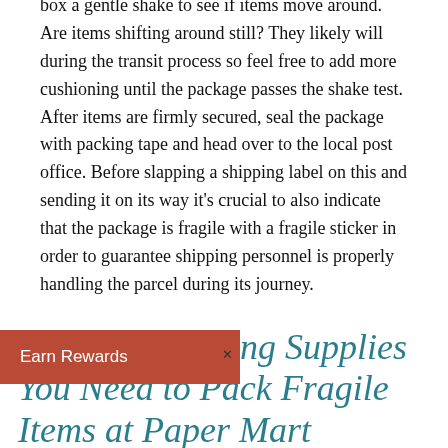box a gentle shake to see if items move around. Are items shifting around still? They likely will during the transit process so feel free to add more cushioning until the package passes the shake test. After items are firmly secured, seal the package with packing tape and head over to the local post office. Before slapping a shipping label on this and sending it on its way it's crucial to also indicate that the package is fragile with a fragile sticker in order to guarantee shipping personnel is properly handling the parcel during its journey.
Find the Shipping Supplies You Need to Pack Fragile Items at Paper Mart